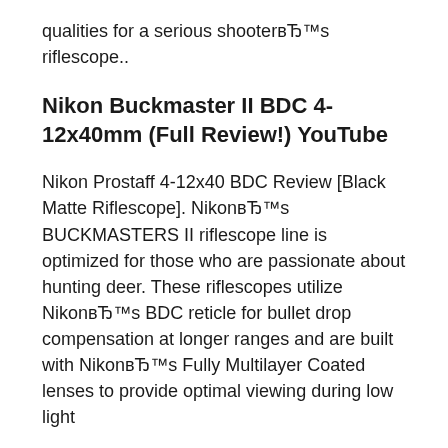qualities for a serious shooterвЂ™s riflescope..
Nikon Buckmaster II BDC 4-12x40mm (Full Review!) YouTube
Nikon Prostaff 4-12x40 BDC Review [Black Matte Riflescope]. NikonвЂ™s BUCKMASTERS II riflescope line is optimized for those who are passionate about hunting deer. These riflescopes utilize NikonвЂ™s BDC reticle for bullet drop compensation at longer ranges and are built with NikonвЂ™s Fully Multilayer Coated lenses to provide optimal viewing during low light